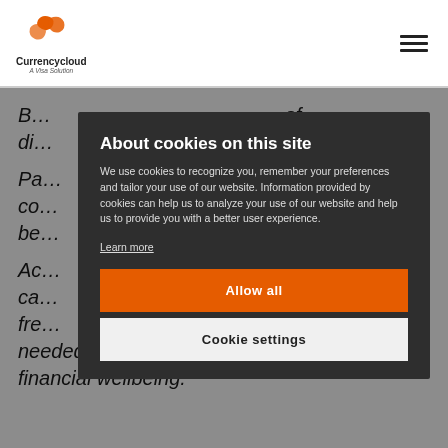Currencycloud – A Visa Solution
B... of di...
Pa... e co... n be...
Ac... ca... fre... needed visibility of their spending habits and financial wellbeing.
About cookies on this site
We use cookies to recognize you, remember your preferences and tailor your use of our website. Information provided by cookies can help us to analyze your use of our website and help us to provide you with a better user experience.
Learn more
Allow all
Cookie settings